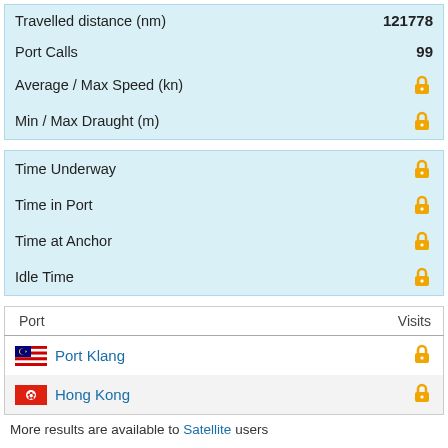| Travelled distance (nm) | 121778 |
| Port Calls | 99 |
| Average / Max Speed (kn) | 🔒 |
| Min / Max Draught (m) | 🔒 |
| Time Underway | 🔒 |
| Time in Port | 🔒 |
| Time at Anchor | 🔒 |
| Idle Time | 🔒 |
| Port | Visits |
| --- | --- |
| Port Klang | 🔒 |
| Hong Kong | 🔒 |
More results are available to Satellite users
| Country | Visits |
| --- | --- |
| Japan | 🔒 |
| Malaysia | 🔒 |
More results are available to Satellite users